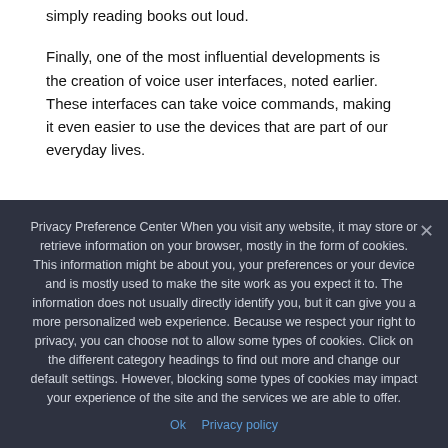simply reading books out loud.
Finally, one of the most influential developments is the creation of voice user interfaces, noted earlier. These interfaces can take voice commands, making it even easier to use the devices that are part of our everyday lives.
Privacy Preference Center When you visit any website, it may store or retrieve information on your browser, mostly in the form of cookies. This information might be about you, your preferences or your device and is mostly used to make the site work as you expect it to. The information does not usually directly identify you, but it can give you a more personalized web experience. Because we respect your right to privacy, you can choose not to allow some types of cookies. Click on the different category headings to find out more and change our default settings. However, blocking some types of cookies may impact your experience of the site and the services we are able to offer.
Ok   Privacy policy